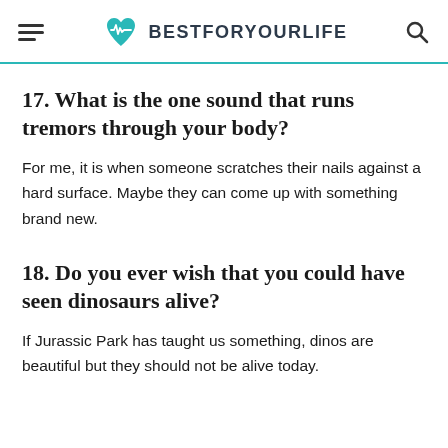BESTFORYOURLIFE
17. What is the one sound that runs tremors through your body?
For me, it is when someone scratches their nails against a hard surface. Maybe they can come up with something brand new.
18. Do you ever wish that you could have seen dinosaurs alive?
If Jurassic Park has taught us something, dinos are beautiful but they should not be alive today.